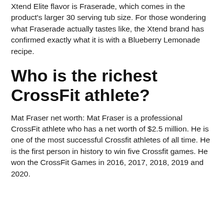Xtend Elite flavor is Fraserade, which comes in the product's larger 30 serving tub size. For those wondering what Fraserade actually tastes like, the Xtend brand has confirmed exactly what it is with a Blueberry Lemonade recipe.
Who is the richest CrossFit athlete?
Mat Fraser net worth: Mat Fraser is a professional CrossFit athlete who has a net worth of $2.5 million. He is one of the most successful Crossfit athletes of all time. He is the first person in history to win five Crossfit games. He won the CrossFit Games in 2016, 2017, 2018, 2019 and 2020.